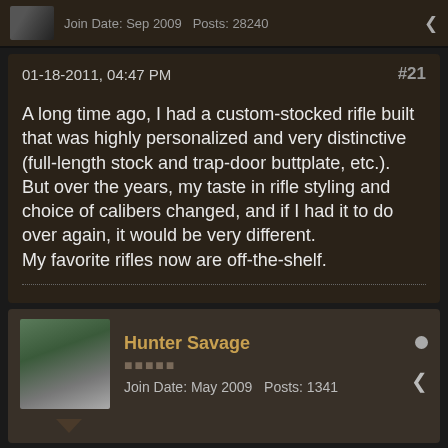Join Date: Sep 2009   Posts: 28240
01-18-2011, 04:47 PM   #21
A long time ago, I had a custom-stocked rifle built that was highly personalized and very distinctive (full-length stock and trap-door buttplate, etc.).
But over the years, my taste in rifle styling and choice of calibers changed, and if I had it to do over again, it would be very different.
My favorite rifles now are off-the-shelf.
Hunter Savage
Join Date: May 2009   Posts: 1341
01-18-2011, 05:27 PM   #22